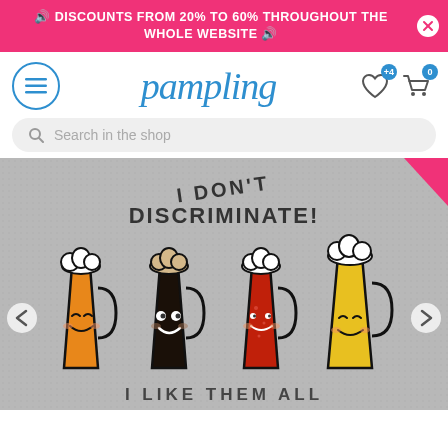🔊 DISCOUNTS FROM 20% TO 60% THROUGHOUT THE WHOLE WEBSITE 🔊
[Figure (logo): Pampling logo in blue italic script font]
Search in the shop
[Figure (illustration): Cartoon t-shirt graphic showing four smiling beer glasses of different colors (amber, dark stout, red ale, golden lager) with the text 'I DON'T DISCRIMINATE! I LIKE THEM ALL' on a grey background]